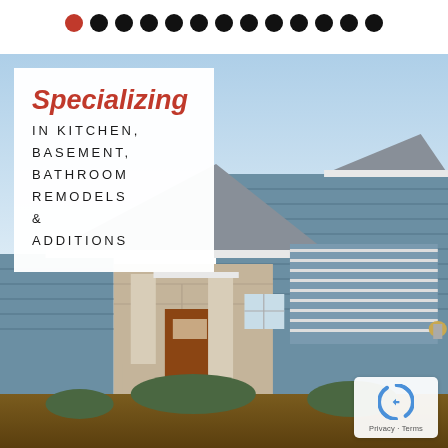[Figure (other): Navigation dot indicators row — one red active dot followed by 12 black dots]
[Figure (photo): Exterior photo of a residential home with blue-gray horizontal siding, stone facade, wood front door, covered porch with columns, and a two-car garage under a light blue sky]
Specializing
IN KITCHEN, BASEMENT, BATHROOM REMODELS & ADDITIONS
[Figure (logo): reCAPTCHA logo badge with Privacy and Terms links at bottom right]